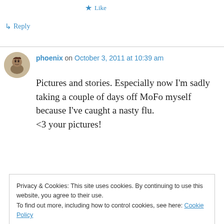name is @Whereveggiesare) :)
★ Like
↳ Reply
phoenix on October 3, 2011 at 10:39 am
Pictures and stories. Especially now I'm sadly taking a couple of days off MoFo myself because I've caught a nasty flu.
<3 your pictures!
Privacy & Cookies: This site uses cookies. By continuing to use this website, you agree to their use.
To find out more, including how to control cookies, see here: Cookie Policy
Close and accept